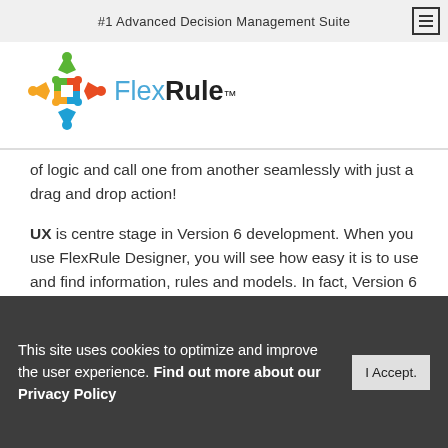#1 Advanced Decision Management Suite
[Figure (logo): FlexRule logo: a colorful snowflake/star icon in green, red/orange, blue colors with the brand name 'FlexRule™' where 'Flex' is in blue and 'Rule' is in bold dark text]
of logic and call one from another seamlessly with just a drag and drop action!
UX is centre stage in Version 6 development. When you use FlexRule Designer, you will see how easy it is to use and find information, rules and models. In fact, Version 6 boasts more than fifty enhancements!
Decision Model and Notation (DMN): FlexRule was one of the very first vendors to adapt this decision
This site uses cookies to optimize and improve the user experience. Find out more about our Privacy Policy